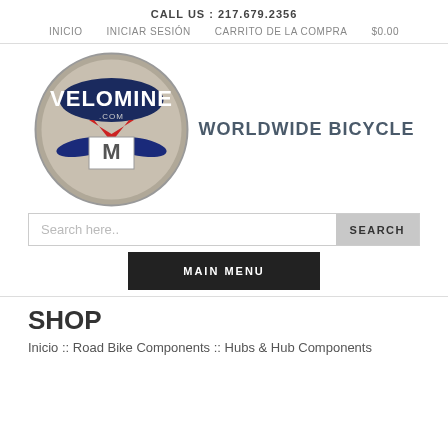CALL US : 217.679.2356
INICIO  INICIAR SESIÓN  CARRITO DE LA COMPRA  $0.00
[Figure (logo): Velomine.com circular logo with winged V emblem, dark blue text VELOMINE on tan background]
WORLDWIDE BICYCLE
Search here..  SEARCH
MAIN MENU
SHOP
Inicio :: Road Bike Components :: Hubs & Hub Components